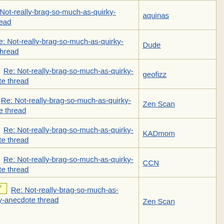| Subject | Author |
| --- | --- |
| Re: Not-really-brag-so-much-as-quirky-anecdote thread | aquinas |
| Re: Not-really-brag-so-much-as-quirky-anecdote thread | Dude |
| Re: Not-really-brag-so-much-as-quirky-anecdote thread | geofizz |
| Re: Not-really-brag-so-much-as-quirky-anecdote thread | Zen Scan |
| Re: Not-really-brag-so-much-as-quirky-anecdote thread | KADmom |
| Re: Not-really-brag-so-much-as-quirky-anecdote thread | CCN |
| Re: Not-really-brag-so-much-as-quirky-anecdote thread | Zen Scan |